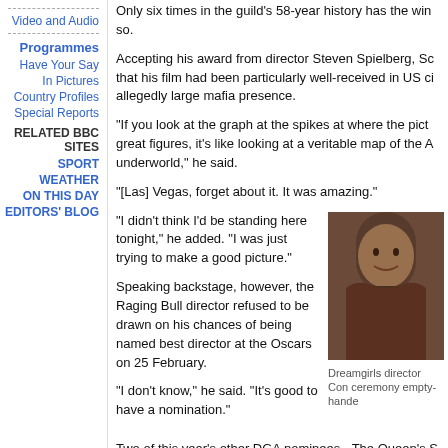Video and Audio
Programmes
Have Your Say
In Pictures
Country Profiles
Special Reports
RELATED BBC SITES
SPORT
WEATHER
ON THIS DAY
EDITORS' BLOG
Only six times in the guild's 58-year history has the win so.
Accepting his award from director Steven Spielberg, Sc that his film had been particularly well-received in US ci allegedly large mafia presence.
"If you look at the graph at the spikes at where the pict great figures, it's like looking at a veritable map of the A underworld," he said.
"[Las] Vegas, forget about it. It was amazing."
"I didn't think I'd be standing here tonight," he added. "I was just trying to make a good picture."
Speaking backstage, however, the Raging Bull director refused to be drawn on his chances of being named best director at the Oscars on 25 February.
"I don't know," he said. "It's good to have a nomination."
[Figure (photo): Photo of a woman smiling, appears to be a Dreamgirls director or cast member at the ceremony]
Dreamgirls director Con ceremony empty-hande
Two of this year's other DGA nominees - The Queen's S and Babel's Alejandro Gonzalez Inarritu - are also up fo director Oscar.
'Better parties'